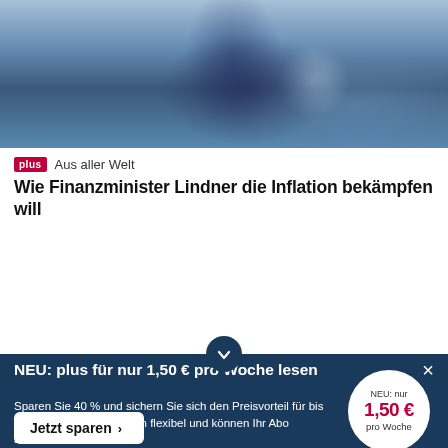[Figure (photo): Blurred photo of a person in a dark suit holding papers, speaking or presenting, with blurred background figures]
plus  Aus aller Welt
Wie Finanzminister Lindner die Inflation bekämpfen will
[Figure (photo): Outdoor photo showing green hedges and trees with a small tower or gazebo rooftop in the foreground]
NEU: plus für nur 1,50 € pro Woche lesen
Sparen Sie 40 % und sichern Sie sich den Preisvorteil für bis zu 12 Monate. Sie bleiben flexibel und können Ihr Abo monatlich beenden.
NEU: nur 1,50 € pro Woche
Jetzt sparen >